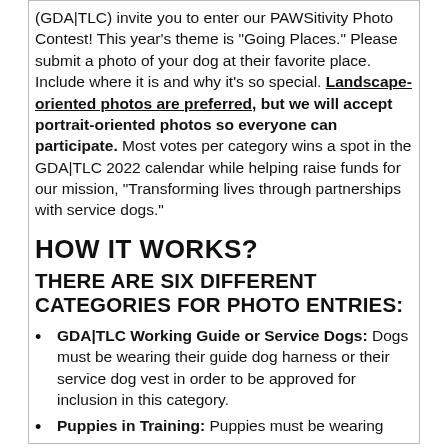(GDA|TLC) invite you to enter our PAWSitivity Photo Contest! This year's theme is "Going Places." Please submit a photo of your dog at their favorite place. Include where it is and why it's so special. Landscape-oriented photos are preferred, but we will accept portrait-oriented photos so everyone can participate. Most votes per category wins a spot in the GDA|TLC 2022 calendar while helping raise funds for our mission, "Transforming lives through partnerships with service dogs."
HOW IT WORKS?
THERE ARE SIX DIFFERENT CATEGORIES FOR PHOTO ENTRIES:
GDA|TLC Working Guide or Service Dogs: Dogs must be wearing their guide dog harness or their service dog vest in order to be approved for inclusion in this category.
Puppies in Training: Puppies must be wearing...